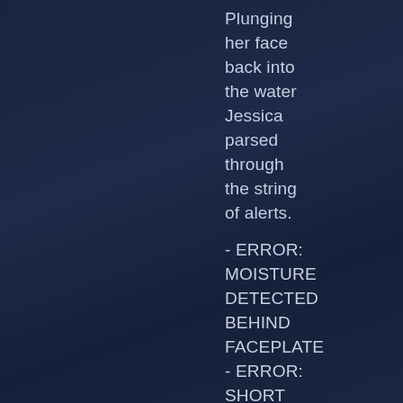Plunging her face back into the water Jessica parsed through the string of alerts.

- ERROR: MOISTURE DETECTED BEHIND FACEPLATE - ERROR: SHORT CIRCUIT DETECTED IN FACIAL ACTUATOR